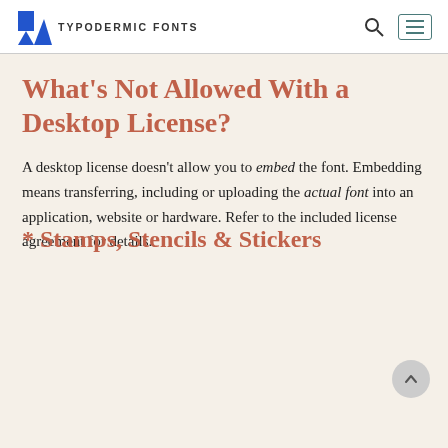TYPODERMIC FONTS
What’s Not Allowed With a Desktop License?
A desktop license doesn’t allow you to embed the font. Embedding means transferring, including or uploading the actual font into an application, website or hardware. Refer to the included license agreement for details.
* Stamps, Stencils & Stickers